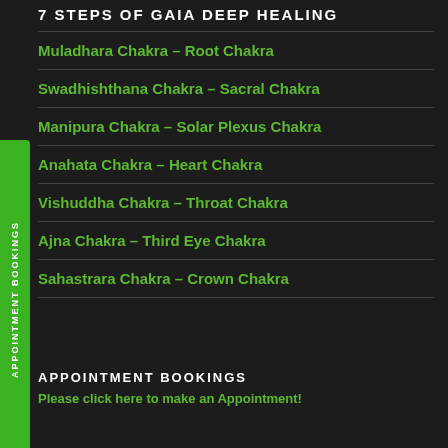7 STEPS OF GAIA DEEP HEALING
Muladhara Chakra – Root Chakra
Swadhishthana Chakra – Sacral Chakra
Manipura Chakra – Solar Plexus Chakra
Anahata Chakra – Heart Chakra
Vishuddha Chakra – Throat Chakra
Ajna Chakra – Third Eye Chakra
Sahastrara Chakra – Crown Chakra
APPOINTMENT BOOKINGS
Please click here to make an Appointment!